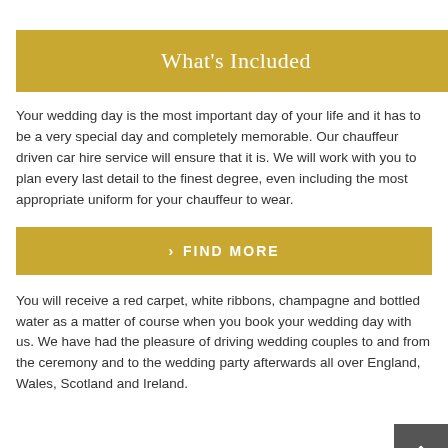What's Included
Your wedding day is the most important day of your life and it has to be a very special day and completely memorable. Our chauffeur driven car hire service will ensure that it is. We will work with you to plan every last detail to the finest degree, even including the most appropriate uniform for your chauffeur to wear.
› FIND MORE
You will receive a red carpet, white ribbons, champagne and bottled water as a matter of course when you book your wedding day with us. We have had the pleasure of driving wedding couples to and from the ceremony and to the wedding party afterwards all over England, Wales, Scotland and Ireland.